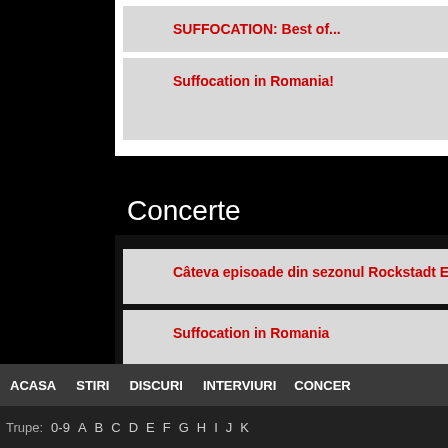SUFFOCATION: Best of...
Suffocation in Romania!
Concerte
Câteva episoade din sezonul Rockstadt Extreme Fes...
Suffocation in Romania
Evenimente
HELLFEST 2012
ACASA   STIRI   DISCURI   INTERVIURI   CONCE...
Trupe: 0-9  A  B  C  D  E  F  G  H  I  J  K